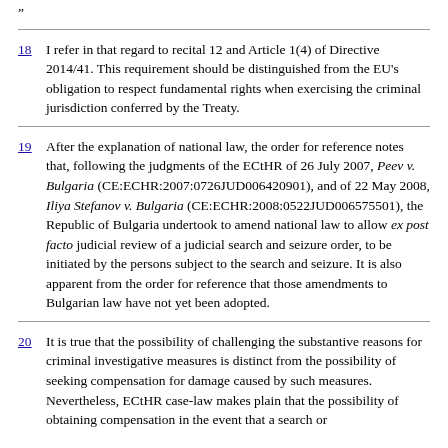"
18    I refer in that regard to recital 12 and Article 1(4) of Directive 2014/41. This requirement should be distinguished from the EU's obligation to respect fundamental rights when exercising the criminal jurisdiction conferred by the Treaty.
19    After the explanation of national law, the order for reference notes that, following the judgments of the ECtHR of 26 July 2007, Peev v. Bulgaria (CE:ECHR:2007:0726JUD006420901), and of 22 May 2008, Iliya Stefanov v. Bulgaria (CE:ECHR:2008:0522JUD006575501), the Republic of Bulgaria undertook to amend national law to allow ex post facto judicial review of a judicial search and seizure order, to be initiated by the persons subject to the search and seizure. It is also apparent from the order for reference that those amendments to Bulgarian law have not yet been adopted.
20    It is true that the possibility of challenging the substantive reasons for criminal investigative measures is distinct from the possibility of seeking compensation for damage caused by such measures. Nevertheless, ECtHR case-law makes plain that the possibility of obtaining compensation in the event that a search or